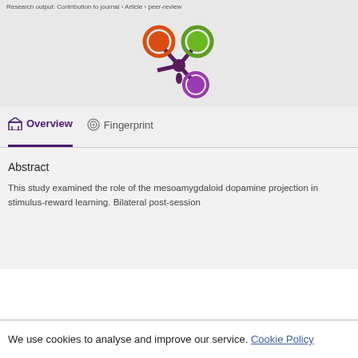Research output: Contribution to journal › Article › peer-review
[Figure (logo): Altmetric-style logo with orange, green, and purple circles connected by dark purple branches forming a snowflake/asterisk shape]
Overview   Fingerprint
Abstract
This study examined the role of the mesoamygdaloid dopamine projection in stimulus-reward learning. Bilateral post-session
We use cookies to analyse and improve our service. Cookie Policy